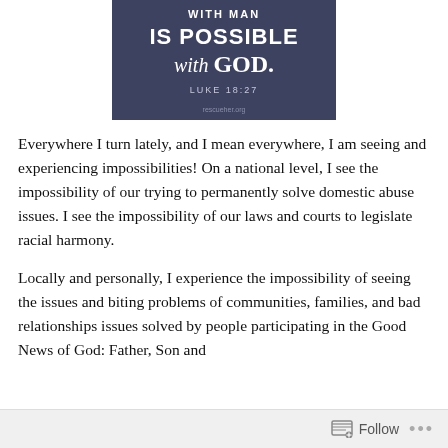[Figure (illustration): Dark navy/slate background image with handwritten-style white text reading 'IS POSSIBLE with GOD.' and 'LUKE 18:27', with rescueher.org at the bottom]
Everywhere I turn lately, and I mean everywhere, I am seeing and experiencing impossibilities! On a national level, I see the impossibility of our trying to permanently solve domestic abuse issues. I see the impossibility of our laws and courts to legislate racial harmony.
Locally and personally, I experience the impossibility of seeing the issues and biting problems of communities, families, and bad relationships issues solved by people participating in the Good News of God: Father, Son and
Follow ...